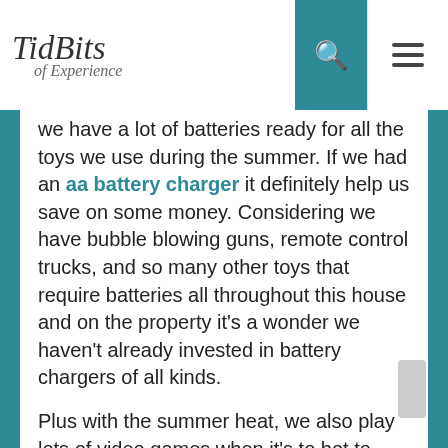TidBits of Experience
we have a lot of batteries ready for all the toys we use during the summer. If we had an aa battery charger it definitely help us save on some money. Considering we have bubble blowing guns, remote control trucks, and so many other toys that require batteries all throughout this house and on the property it's a wonder we haven't already invested in battery chargers of all kinds.
Plus with the summer heat, we also play lots of video games when it's to hot to enjoy the great outdoors. Some